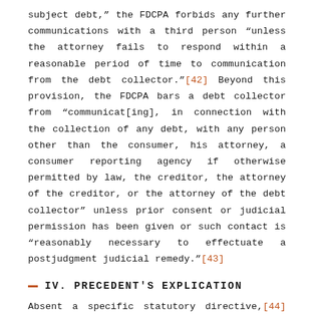subject debt," the FDCPA forbids any further communications with a third person "unless the attorney fails to respond within a reasonable period of time to communication from the debt collector."[42] Beyond this provision, the FDCPA bars a debt collector from "communicat[ing], in connection with the collection of any debt, with any person other than the consumer, his attorney, a consumer reporting agency if otherwise permitted by law, the creditor, the attorney of the creditor, or the attorney of the debt collector" unless prior consent or judicial permission has been given or such contact is "reasonably necessary to effectuate a postjudgment judicial remedy."[43]
IV. PRECEDENT'S EXPLICATION
Absent a specific statutory directive,[44] federal common law settles the question of survival of a federal statutory cause of action upon the demise of the alleged victim.[45] Over the last 30 years, without the aid of any meaningful congressional guidance, federal courts have molded a peculiar series of rules as to the propriety of that cause's descent. As precedent